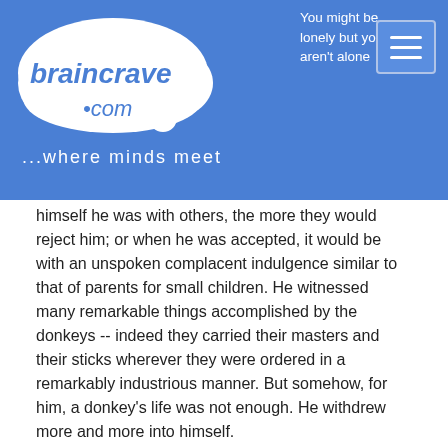braincrave.com ...where minds meet | You might be lonely but you aren't alone
himself he was with others, the more they would reject him; or when he was accepted, it would be with an unspoken complacent indulgence similar to that of parents for small children. He witnessed many remarkable things accomplished by the donkeys -- indeed they carried their masters and their sticks wherever they were ordered in a remarkably industrious manner. But somehow, for him, a donkey's life was not enough. He withdrew more and more into himself.
He took care of his physique, and stayed in good health. He still might climb a mountain! If only he could, he could then tell the others what the world looks like from high above the plain! Even the donkeys would enjoy retelling his story, since the retelling would require no self-sacrifice, and it really wouldn't matter what his life would become thereafter. Perhaps then, he fantasized, the horses he had heard about would not be too busy to tell